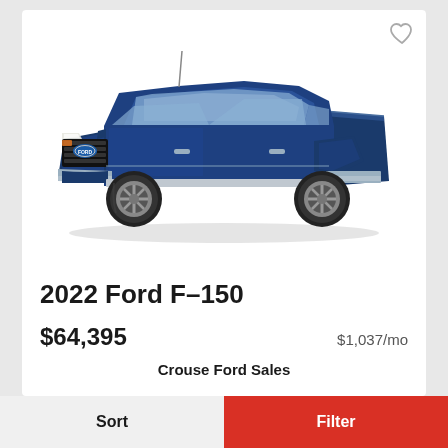[Figure (photo): 2022 Ford F-150 pickup truck in dark blue color, shown in a 3/4 front view with chrome grille and alloy wheels]
2022 Ford F–150
$64,395   $1,037/mo
Crouse Ford Sales
Sort   Filter